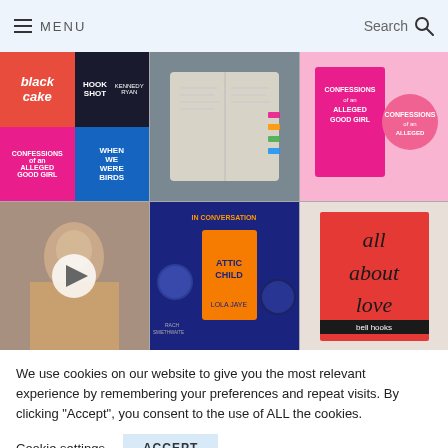MENU | Search
[Figure (photo): Grid of 6 social media photos: book covers (Black Cake, Hook Shot, Confessions of an Alleged Good Girl, When We Were Birds), open annotated book pages, person smiling video still with play button, Attic Child book event, all about love book by bell hooks.]
We use cookies on our website to give you the most relevant experience by remembering your preferences and repeat visits. By clicking "Accept", you consent to the use of ALL the cookies.
Cookie settings
ACCEPT